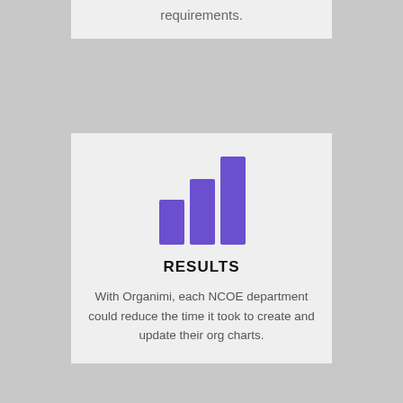requirements.
[Figure (infographic): Bar chart icon with three ascending purple bars representing results]
RESULTS
With Organimi, each NCOE department could reduce the time it took to create and update their org charts.